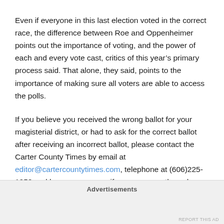Even if everyone in this last election voted in the correct race, the difference between Roe and Oppenheimer points out the importance of voting, and the power of each and every vote cast, critics of this year's primary process said. That alone, they said, points to the importance of making sure all voters are able to access the polls.
If you believe you received the wrong ballot for your magisterial district, or had to ask for the correct ballot after receiving an incorrect ballot, please contact the Carter County Times by email at editor@cartercountytimes.com, telephone at (606)225-1258 and leave a message if no answer, or through our Facebook page.
Advertisements